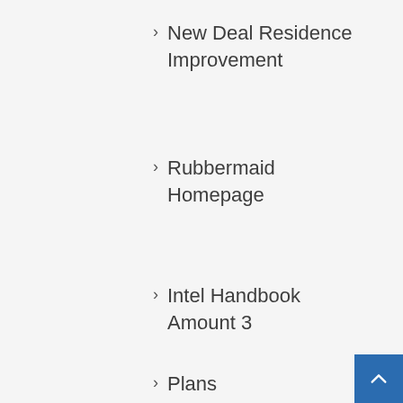New Deal Residence Improvement
Rubbermaid Homepage
Intel Handbook Amount 3
Plans